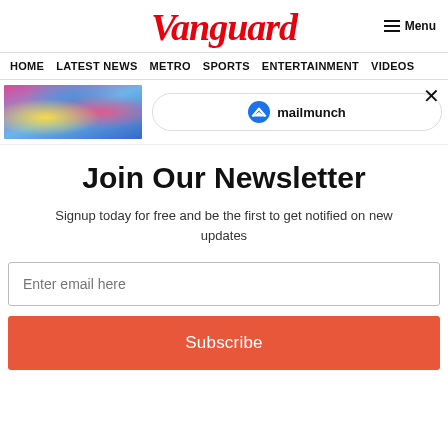Vanguard
Menu
HOME   LATEST NEWS   METRO   SPORTS   ENTERTAINMENT   VIDEOS
[Figure (photo): Colorful article thumbnail image with people]
[Figure (logo): Mailmunch logo with blue M icon and text mailmunch]
Join Our Newsletter
Signup today for free and be the first to get notified on new updates
Enter email here
Subscribe